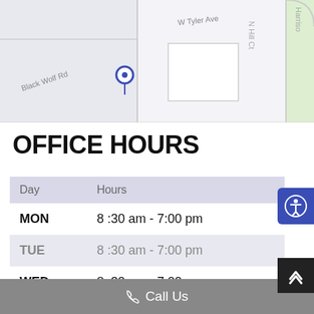[Figure (map): Street map showing Black Wolf Rd, W Tyler Ave, N Hill Ct, Harrison area with road grid and a location pin marker]
OFFICE HOURS
| Day | Hours |
| --- | --- |
| MON | 8:30 am - 7:00 pm |
| TUE | 8:30 am - 7:00 pm |
| WED | 8:30 am - 7:00 pm |
| THU | 8:30 am - 7:00 pm |
Call Us